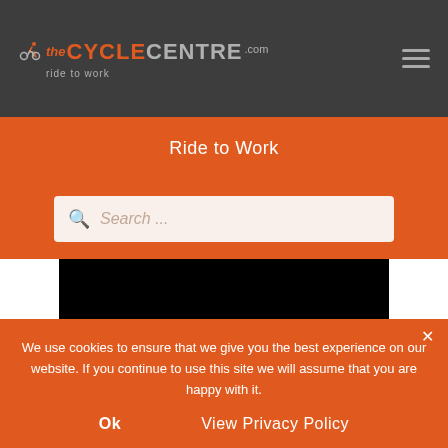The Cycle Centre .com - ride to work
Ride to Work
[Figure (screenshot): Search bar with placeholder text 'Search ...']
[Figure (logo): RIDECONTROL ONE product logo on black background with power icon]
We use cookies to ensure that we give you the best experience on our website. If you continue to use this site we will assume that you are happy with it.
Ok   View Privacy Policy